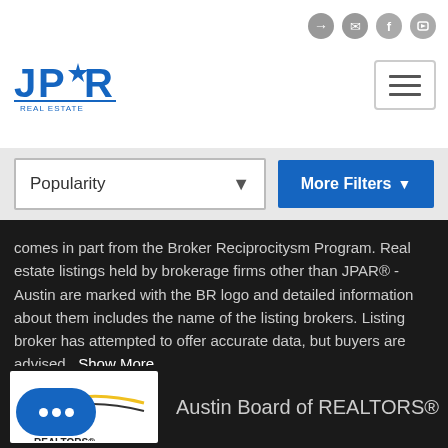[Figure (logo): JPAR Real Estate logo in blue]
[Figure (screenshot): Hamburger menu icon with three horizontal lines]
[Figure (screenshot): Top navigation bar with login, mail, Facebook, YouTube icons]
Popularity
More Filters
comes in part from the Broker Reciprocitysm Program. Real estate listings held by brokerage firms other than JPAR® - Austin are marked with the BR logo and detailed information about them includes the name of the listing brokers. Listing broker has attempted to offer accurate data, but buyers are advised   Show More...
[Figure (logo): Austin Board of REALTORS logo]
Austin Board of REALTORS®